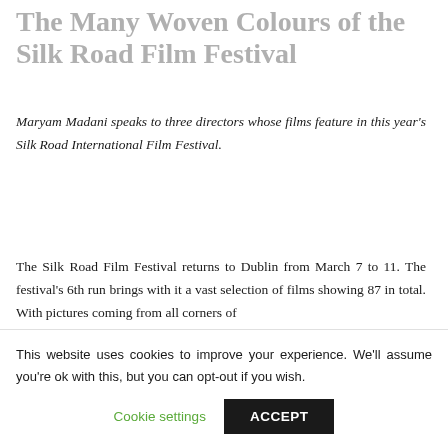The Many Woven Colours of the Silk Road Film Festival
Maryam Madani speaks to three directors whose films feature in this year's Silk Road International Film Festival.
The Silk Road Film Festival returns to Dublin from March 7 to 11. The festival's 6th run brings with it a vast selection of films showing 87 in total. With pictures coming from all corners of
This website uses cookies to improve your experience. We'll assume you're ok with this, but you can opt-out if you wish.
Cookie settings   ACCEPT